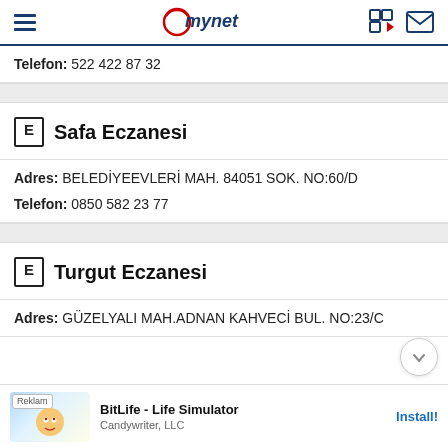mynet
Telefon: 522 422 87 32
E Safa Eczanesi
Adres: BELEDİYEEVLERİ MAH. 84051 SOK. NO:60/D
Telefon: 0850 582 23 77
E Turgut Eczanesi
Adres: GÜZELYAlI MAH.ADNAN KAHVECİ BUL. NO:23/C
[Figure (other): Advertisement banner: BitLife - Life Simulator by Candywriter, LLC with Install button]